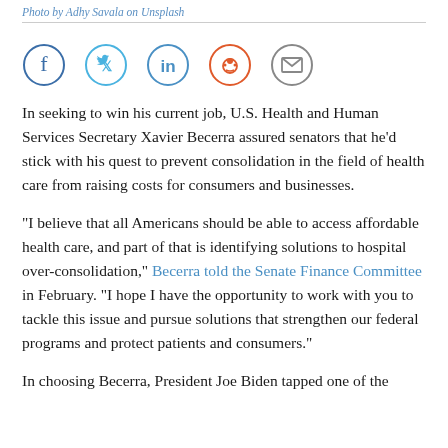Photo by Adhy Savala on Unsplash
[Figure (infographic): Social sharing icons: Facebook, Twitter, LinkedIn, Reddit, Email]
In seeking to win his current job, U.S. Health and Human Services Secretary Xavier Becerra assured senators that he'd stick with his quest to prevent consolidation in the field of health care from raising costs for consumers and businesses.
“I believe that all Americans should be able to access affordable health care, and part of that is identifying solutions to hospital over-consolidation,” Becerra told the Senate Finance Committee in February. “I hope I have the opportunity to work with you to tackle this issue and pursue solutions that strengthen our federal programs and protect patients and consumers.”
In choosing Becerra, President Joe Biden tapped one of the